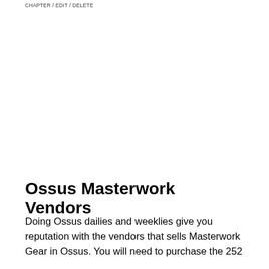CHAPTER / EDIT / DELETE
Ossus Masterwork Vendors
Doing Ossus dailies and weeklies give you reputation with the vendors that sells Masterwork Gear in Ossus. You will need to purchase the 252 crafts after the cost 2 Masterwork Rare Components